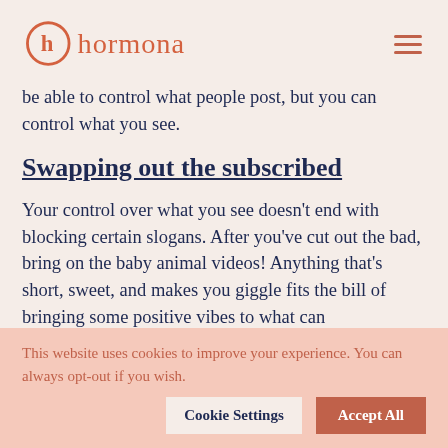hormona
be able to control what people post, but you can control what you see.
Swapping out the subscribed
Your control over what you see doesn't end with blocking certain slogans. After you've cut out the bad, bring on the baby animal videos! Anything that's short, sweet, and makes you giggle fits the bill of bringing some positive vibes to what can
This website uses cookies to improve your experience. You can always opt-out if you wish.